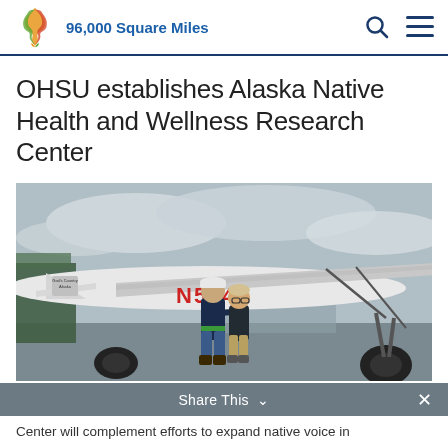96,000 Square Miles
OHSU establishes Alaska Native Health and Wellness Research Center
[Figure (photo): Two people standing in front of a small propeller aircraft with registration number N574 on a cloudy day at an airfield. The plane has a logo on the tail reading 'God's Country Alaska'.]
Share This
Center will complement efforts to expand native voice in